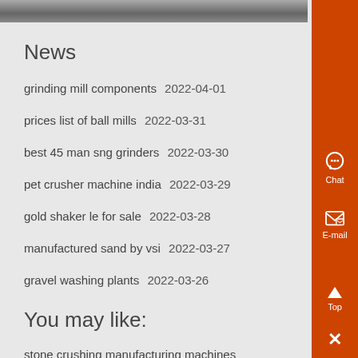[Figure (photo): Top cropped photo strip showing machinery/equipment in grayscale]
News
grinding mill components  2022-04-01
prices list of ball mills  2022-03-31
best 45 man sng grinders  2022-03-30
pet crusher machine india  2022-03-29
gold shaker le for sale  2022-03-28
manufactured sand by vsi  2022-03-27
gravel washing plants  2022-03-26
You may like:
stone crushing manufacturing machines